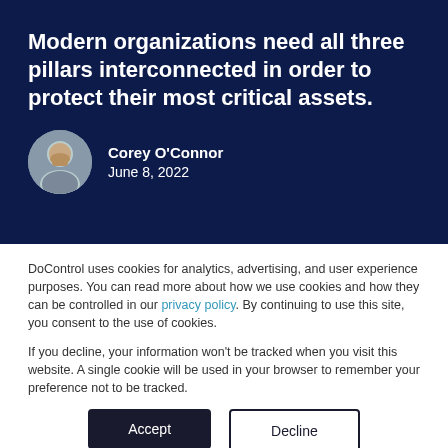Modern organizations need all three pillars interconnected in order to protect their most critical assets.
Corey O'Connor
June 8, 2022
DoControl uses cookies for analytics, advertising, and user experience purposes. You can read more about how we use cookies and how they can be controlled in our privacy policy. By continuing to use this site, you consent to the use of cookies.

If you decline, your information won't be tracked when you visit this website. A single cookie will be used in your browser to remember your preference not to be tracked.